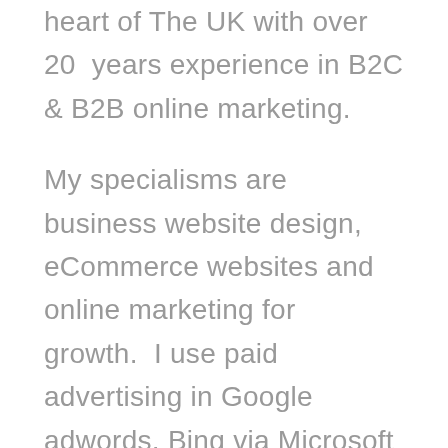heart of The UK with over 20 years experience in B2C & B2B online marketing.
My specialisms are business website design, eCommerce websites and online marketing for growth.  I use paid advertising in Google adwords, Bing via Microsoft ads platform Facebook Instagram.
I take a holistic approach combining PPC (pay per click) along with other paid